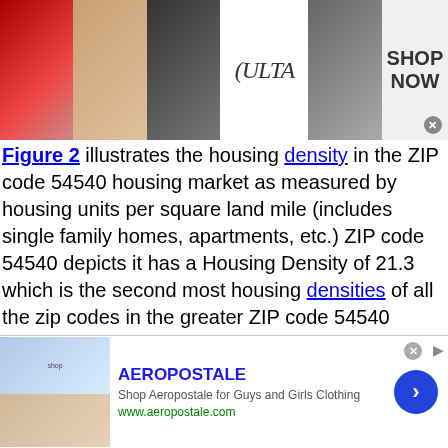[Figure (photo): ULTA beauty advertisement banner with makeup photos and SHOP NOW text]
Figure 2 illustrates the housing density in the ZIP code 54540 housing market as measured by housing units per square land mile (includes single family homes, apartments, etc.) ZIP code 54540 depicts it has a Housing Density of 21.3 which is the second most housing densities of all the zip codes in the greater ZIP code 54540 region. The zip code with the highest housing density in the area is 54521 which depicts a density of 36.3 (70.7% larger). Comparing housing density to the United States average of 39.2, ZIP code 54540 is approximately half the size. Also, versus the state of Wisconsin, housing density of 50.1, ZIP code 54540 is approximately half the size.
[Figure (photo): Aeropostale advertisement banner]